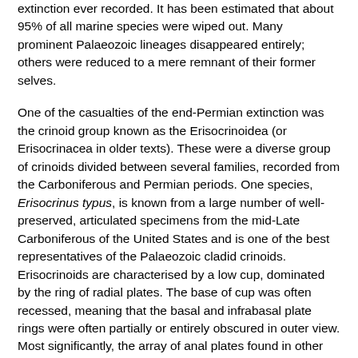extinction ever recorded. It has been estimated that about 95% of all marine species were wiped out. Many prominent Palaeozoic lineages disappeared entirely; others were reduced to a mere remnant of their former selves.
One of the casualties of the end-Permian extinction was the crinoid group known as the Erisocrinoidea (or Erisocrinacea in older texts). These were a diverse group of crinoids divided between several families, recorded from the Carboniferous and Permian periods. One species, Erisocrinus typus, is known from a large number of well-preserved, articulated specimens from the mid-Late Carboniferous of the United States and is one of the best representatives of the Palaeozoic cladid crinoids. Erisocrinoids are characterised by a low cup, dominated by the ring of radial plates. The base of cup was often recessed, meaning that the basal and infrabasal plate rings were often partially or entirely obscured in outer view. Most significantly, the array of anal plates found in other crinoids was reduced to a single plate or even lost. The insertion points of the arms bear signs of strong muscular articulation, indicating that these were animals of higher-energy environments requiring